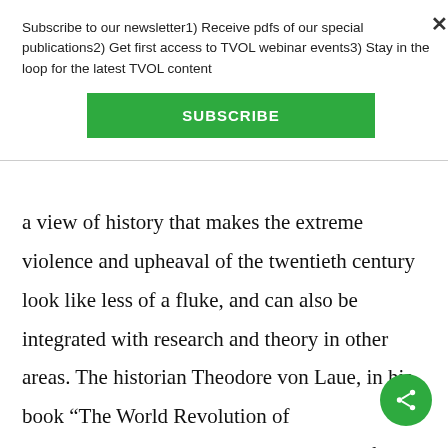Subscribe to our newsletter1) Receive pdfs of our special publications2) Get first access to TVOL webinar events3) Stay in the loop for the latest TVOL content
SUBSCRIBE
a view of history that makes the extreme violence and upheaval of the twentieth century look like less of a fluke, and can also be integrated with research and theory in other areas. The historian Theodore von Laue, in his book “The World Revolution of Westernization,” argues that the origins of the twentieth